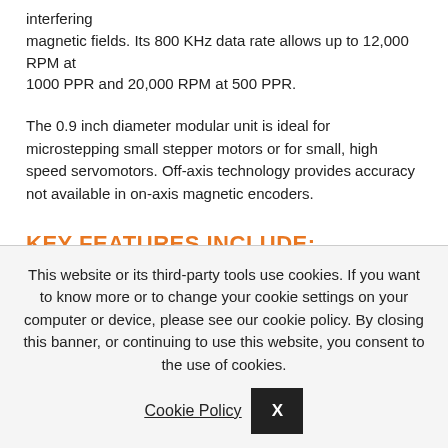interfering magnetic fields. Its 800 KHz data rate allows up to 12,000 RPM at 1000 PPR and 20,000 RPM at 500 PPR.
The 0.9 inch diameter modular unit is ideal for microstepping small stepper motors or for small, high speed servomotors. Off-axis technology provides accuracy not available in on-axis magnetic encoders.
KEY FEATURES INCLUDE:
RESOLUTIONS
100  125  128  180  200  250  256  360  400  500  512  640  720
This website or its third-party tools use cookies. If you want to know more or to change your cookie settings on your computer or device, please see our cookie policy. By closing this banner, or continuing to use this website, you consent to the use of cookies.